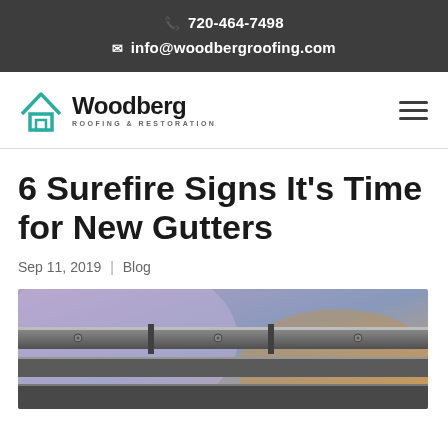720-464-7498
info@woodbergroofing.com
[Figure (logo): Woodberg Roofing & Restoration logo with teal house icon]
6 Surefire Signs It’s Time for New Gutters
Sep 11, 2019 | Blog
[Figure (photo): Close-up photo of gutters on a roofline, blurred background with orange and purple tones]